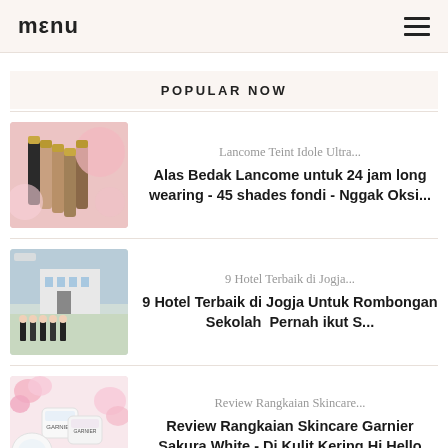menu  ≡
POPULAR NOW
[Figure (photo): Product photo of Lancome foundation bottles held in hand with pink background]
Lancome Teint Idole Ultra...
Alas Bedak Lancome untuk 24 jam long wearing - 45 shades fondi - Nggak Oksi...
[Figure (photo): Group of students in front of hotel building, travel/lifestyle blog thumbnail]
9 Hotel Terbaik di Jogja...
9 Hotel Terbaik di Jogja Untuk Rombongan Sekolah  Pernah ikut S...
[Figure (photo): Garnier Sakura White skincare products with pink flowers on light background]
Review Rangkaian Skincare...
Review Rangkaian Skincare Garnier Sakura White - Di Kulit Kering Hi Hello